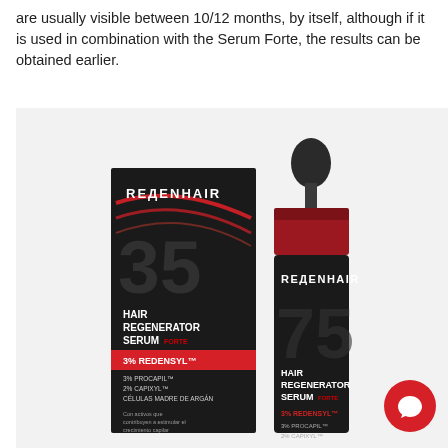are usually visible between 10/12 months, by itself, although if it is used in combination with the Serum Forte, the results can be obtained earlier.
[Figure (photo): Product photo showing two REDENHAIR Hair Regenerator Serum Forte bottles/boxes. One is a dark box with a red swoosh design, labeled with '35', 'HAIR REGENERATOR SERUM FORTE', '3% REDENSYL', '3% PROCAPIL', '2% CAPIXYL', 'CELULAS MADRE DE ARGAN'. The other is a dark dropper bottle labeled 'REDENHAIR', '75', 'HAIR REGENERATOR SERUM FORTE', '3% PROCAPIL'. Both have a red and black color scheme. A red circular chat button is visible in the bottom right corner.]